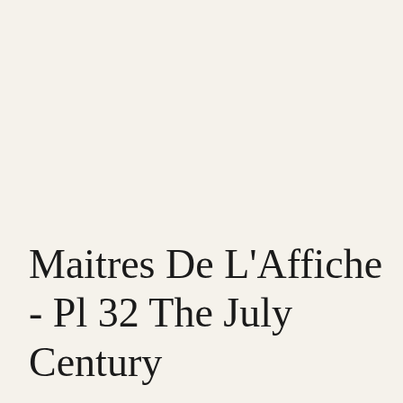Maitres De L'Affiche - Pl 32 The July Century